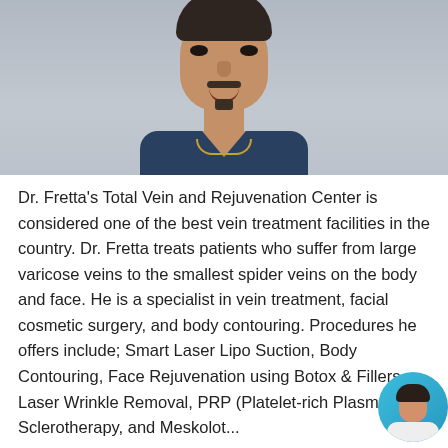[Figure (photo): Portrait photo of Dr. Fretta, a middle-aged man with dark hair and a goatee/mustache, smiling, wearing dark navy blue medical scrubs with a gold necklace, photographed against a light gray background.]
Dr. Fretta's Total Vein and Rejuvenation Center is considered one of the best vein treatment facilities in the country. Dr. Fretta treats patients who suffer from large varicose veins to the smallest spider veins on the body and face. He is a specialist in vein treatment, facial cosmetic surgery, and body contouring. Procedures he offers include; Smart Laser Lipo Suction, Body Contouring, Face Rejuvenation using Botox & Fillers, Laser Wrinkle Removal, PRP (Platelet-rich Plasma), Sclerotherapy, and Meskolot...
[Figure (photo): Small circular avatar of a young woman with dark hair, wearing a white coat or top, used as a chat/support widget in the bottom right corner, with a teal/blue circular background.]